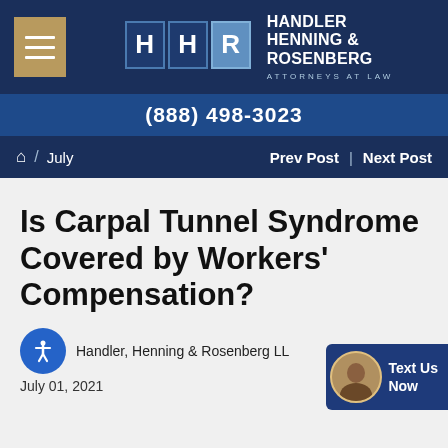[Figure (logo): Handler Henning & Rosenberg Attorneys at Law logo with HHR monogram in blue boxes]
(888) 498-3023
Home / July   Prev Post | Next Post
Is Carpal Tunnel Syndrome Covered by Workers' Compensation?
Handler, Henning & Rosenberg LL
July 01, 2021